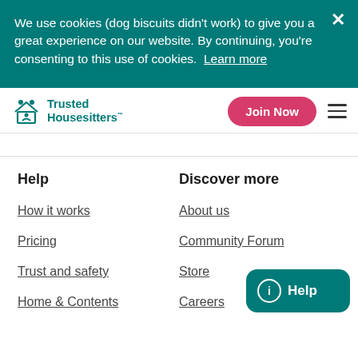We use cookies (dog biscuits didn't work) to give you a great experience on our website. By continuing, you're consenting to this use of cookies. Learn more
[Figure (logo): Trusted Housesitters logo with teal house and people icon]
Trusted Housesitters
Join Now
Help
Discover more
How it works
About us
Pricing
Community Forum
Trust and safety
Store
Home & Contents
Careers